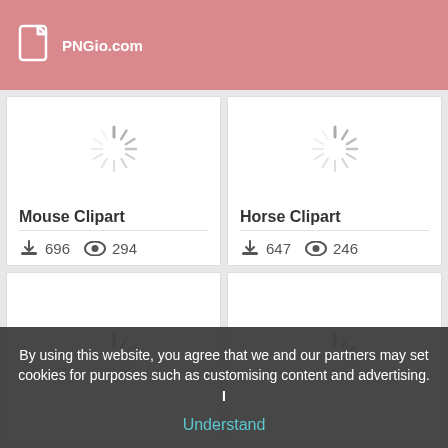PNGio.com
Mouse Clipart
696 downloads  294 views
Horse Clipart
647 downloads  246 views
By using this website, you agree that we and our partners may set cookies for purposes such as customising content and advertising.  I
Understand